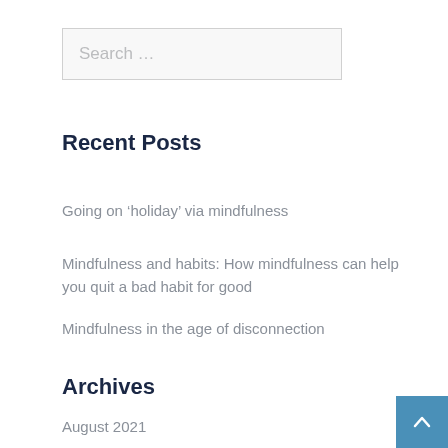[Figure (screenshot): Search input box with placeholder text 'Search ...']
Recent Posts
Going on ‘holiday’ via mindfulness
Mindfulness and habits: How mindfulness can help you quit a bad habit for good
Mindfulness in the age of disconnection
Archives
August 2021